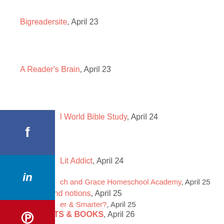Bigreadersite, April 23
A Reader's Brain, April 23
[R]eal World Bible Study, April 24
[...] Lit Addict, April 24
[...] er & Smarter?, April 25
[...] ch and Grace Homeschool Academy, April 25
Inklings and notions, April 25
D'S QUILTS & BOOKS, April 26